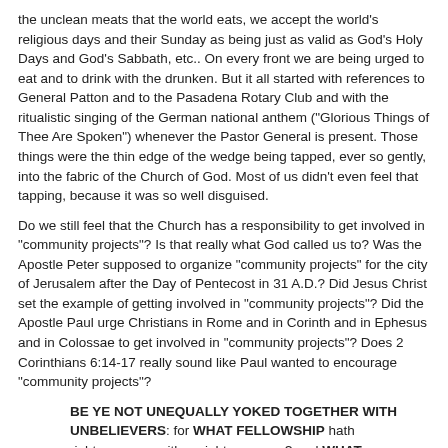the unclean meats that the world eats, we accept the world's religious days and their Sunday as being just as valid as God's Holy Days and God's Sabbath, etc.. On every front we are being urged to eat and to drink with the drunken. But it all started with references to General Patton and to the Pasadena Rotary Club and with the ritualistic singing of the German national anthem ("Glorious Things of Thee Are Spoken") whenever the Pastor General is present. Those things were the thin edge of the wedge being tapped, ever so gently, into the fabric of the Church of God. Most of us didn't even feel that tapping, because it was so well disguised.
Do we still feel that the Church has a responsibility to get involved in "community projects"? Is that really what God called us to? Was the Apostle Peter supposed to organize "community projects" for the city of Jerusalem after the Day of Pentecost in 31 A.D.? Did Jesus Christ set the example of getting involved in "community projects"? Did the Apostle Paul urge Christians in Rome and in Corinth and in Ephesus and in Colossae to get involved in "community projects"? Does 2 Corinthians 6:14-17 really sound like Paul wanted to encourage "community projects"?
BE YE NOT UNEQUALLY YOKED TOGETHER WITH UNBELIEVERS: for WHAT FELLOWSHIP hath righteousness with unrighteousness? and WHAT COMMUNION hath light with darkness? And WHAT CONCORD hath Christ with Belial? or WHAT PART hath he that believeth with an infidel? And WHAT AGREEMENT hath the temple of God with idols? for ye are the temple of the living God; as God hath said, I will dwell in them, and walk in [them]; and I will be their God, and they shall be my people. Wherefore COME OUT FROM AMONG THEM, AND BE YE SEPARATE, saith the Lord, and TOUCH NOT the unclean [thing]; and I will receive you, (2 Corinthians 6:14-17)